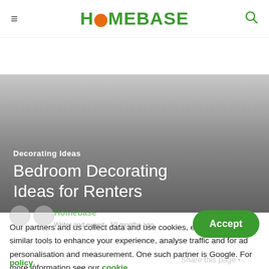HOMEBASE
[Figure (photo): Hero image area shown as a dark gray gradient, representing a bedroom photo background]
Decorating Ideas
Bedroom Decorating Ideas for Renters
Our partners and us collect data and use cookies, email pixels and similar tools to enhance your experience, analyse traffic and for ad personalisation and measurement. One such partner is Google. For more information see our cookie policy.